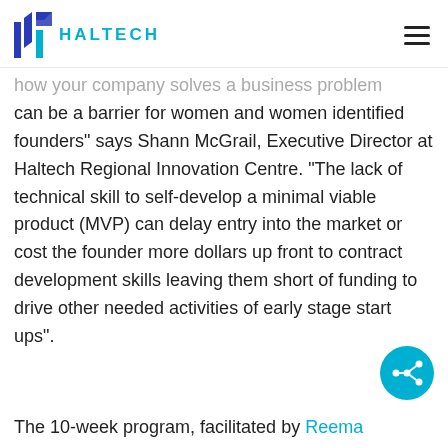Haltech
how your company solves a business problem can be a barrier for women and women identified founders" says Shann McGrail, Executive Director at Haltech Regional Innovation Centre. "The lack of technical skill to self-develop a minimal viable product (MVP) can delay entry into the market or cost the founder more dollars up front to contract development skills leaving them short of funding to drive other needed activities of early stage start ups".
The 10-week program, facilitated by Reema